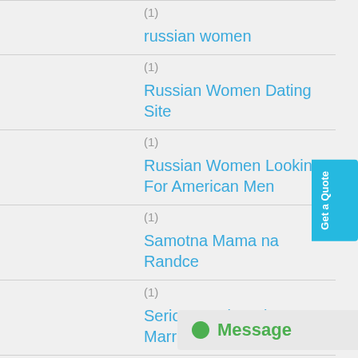(1)
russian women
(1)
Russian Women Dating Site
(1)
Russian Women Looking For American Men
(1)
Samotna Mama na Randce
(1)
Serious Dating Sites For Marriage
(1)
Serious Relationships Dating Tips